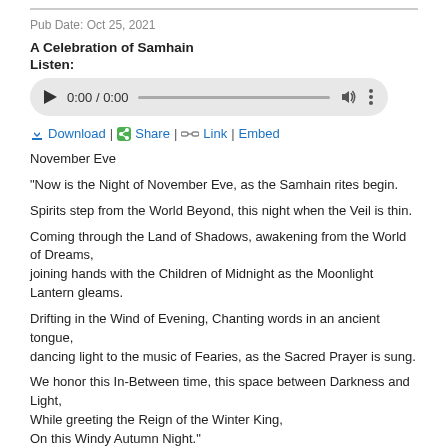Pub Date: Oct 25, 2021
A Celebration of Samhain
Listen:
[Figure (other): Audio player widget showing 0:00 / 0:00 with play button, progress bar, volume icon, and more options icon]
Download | Share | Link | Embed
November Eve
"Now is the Night of November Eve, as the Samhain rites begin.
Spirits step from the World Beyond, this night when the Veil is thin.
Coming through the Land of Shadows, awakening from the World of Dreams, joining hands with the Children of Midnight as the Moonlight Lantern gleams.
Drifting in the Wind of Evening, Chanting words in an ancient tongue, dancing light to the music of Fearies, as the Sacred Prayer is sung.
We honor this In-Between time, this space between Darkness and Light, While greeting the Reign of the Winter King, On this Windy Autumn Night."
Be well. Do good. Enjoy the show!